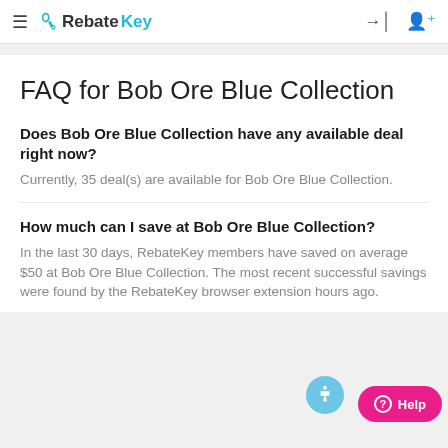RebateKey
FAQ for Bob Ore Blue Collection
Does Bob Ore Blue Collection have any available deal right now?
Currently, 35 deal(s) are available for Bob Ore Blue Collection.
How much can I save at Bob Ore Blue Collection?
In the last 30 days, RebateKey members have saved on average $50 at Bob Ore Blue Collection. The most recent successful savings were found by the RebateKey browser extension hours ago.